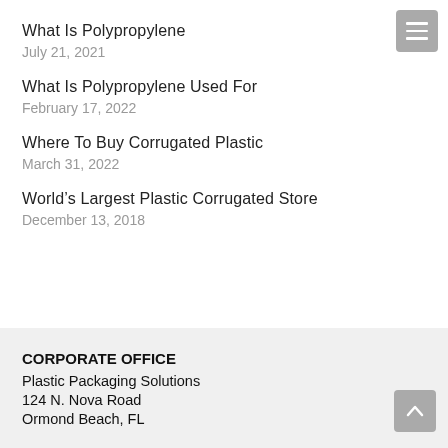What Is Polypropylene
July 21, 2021
What Is Polypropylene Used For
February 17, 2022
Where To Buy Corrugated Plastic
March 31, 2022
World’s Largest Plastic Corrugated Store
December 13, 2018
CORPORATE OFFICE
Plastic Packaging Solutions
124 N. Nova Road
Ormond Beach, FL